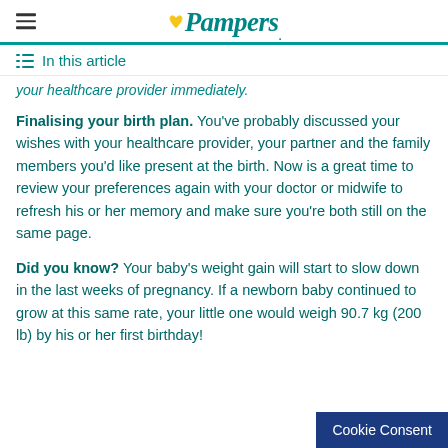Pampers
In this article
your healthcare provider immediately.
Finalising your birth plan. You've probably discussed your wishes with your healthcare provider, your partner and the family members you'd like present at the birth. Now is a great time to review your preferences again with your doctor or midwife to refresh his or her memory and make sure you're both still on the same page.
Did you know? Your baby's weight gain will start to slow down in the last weeks of pregnancy. If a newborn baby continued to grow at this same rate, your little one would weigh 90.7 kg (200 lb) by his or her first birthday!
Cookie Consent